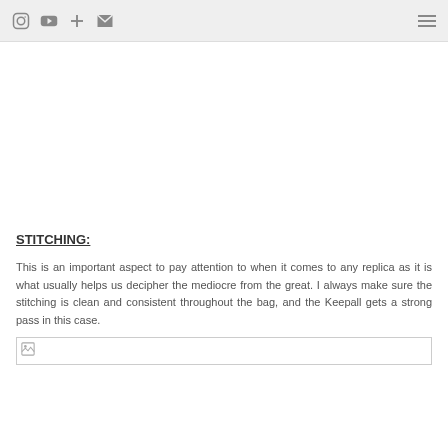[Header bar with social/navigation icons: Instagram, YouTube, Plus, Email on left; Hamburger menu on right]
STITCHING:
This is an important aspect to pay attention to when it comes to any replica as it is what usually helps us decipher the mediocre from the great. I always make sure the stitching is clean and consistent throughout the bag, and the Keepall gets a strong pass in this case.
[Figure (photo): Broken image placeholder showing a small broken-image icon in a bordered box]